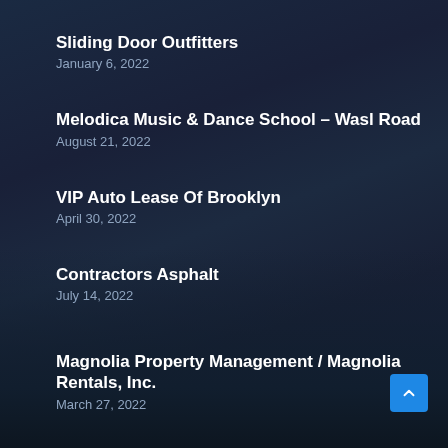Sliding Door Outfitters
January 6, 2022
Melodica Music & Dance School – Wasl Road
August 21, 2022
VIP Auto Lease Of Brooklyn
April 30, 2022
Contractors Asphalt
July 14, 2022
Magnolia Property Management / Magnolia Rentals, Inc.
March 27, 2022